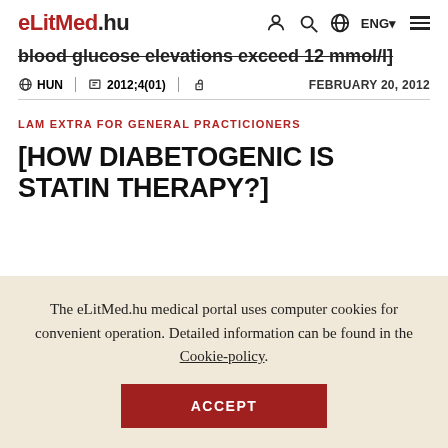eLitMed.hu | ENG
blood glucose elevations exceed 12 mmol/l]
HUN | 2012;4(01) | FEBRUARY 20, 2012
LAM EXTRA FOR GENERAL PRACTICIONERS
[HOW DIABETOGENIC IS STATIN THERAPY?]
The eLitMed.hu medical portal uses computer cookies for convenient operation. Detailed information can be found in the Cookie-policy.
ACCEPT